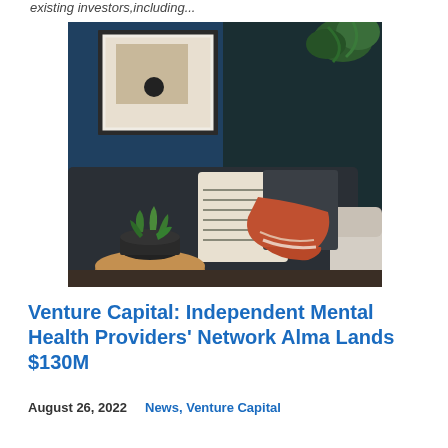existing investors,including...
[Figure (photo): Interior photo showing a cozy modern living room with a dark navy/teal wall, a framed abstract art piece, a dark sofa with a cream striped pillow and rust-colored throw blanket, a potted succulent plant in a black pot on a wooden side table, and a white armchair. A green plant is visible in the top right corner.]
Venture Capital: Independent Mental Health Providers' Network Alma Lands $130M
August 26, 2022   News, Venture Capital